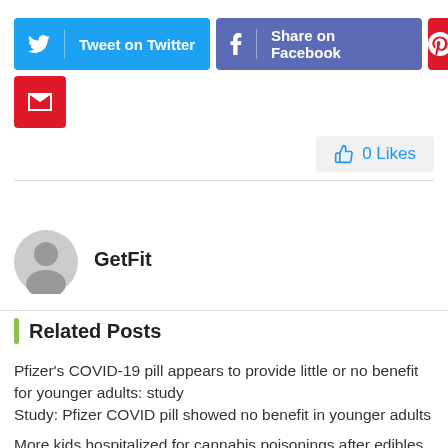[Figure (screenshot): Social sharing buttons: Tweet on Twitter (blue), Share on Facebook (blue-purple), Pinterest (red), Email (red)]
[Figure (infographic): 0 Likes button in gray box]
[Figure (photo): Author avatar placeholder gray circle icon for GetFit]
GetFit
Related Posts
Pfizer's COVID-19 pill appears to provide little or no benefit for younger adults: study
Study: Pfizer COVID pill showed no benefit in younger adults
More kids hospitalized for cannabis poisonings after edibles